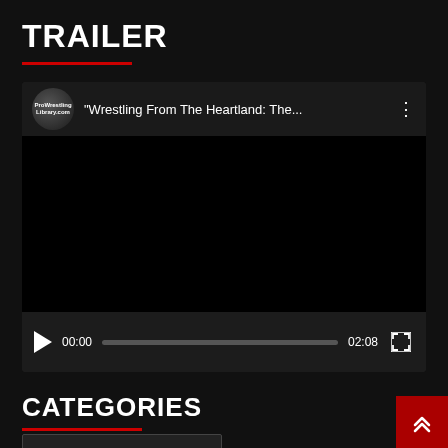TRAILER
[Figure (screenshot): Embedded video player showing 'Wrestling From The Heartland: The...' with a channel avatar logo for ProWrestlingLibrary.com, black video area, playback controls showing 00:00 current time, progress bar, 02:08 total duration, and fullscreen button]
CATEGORIES
Select Category